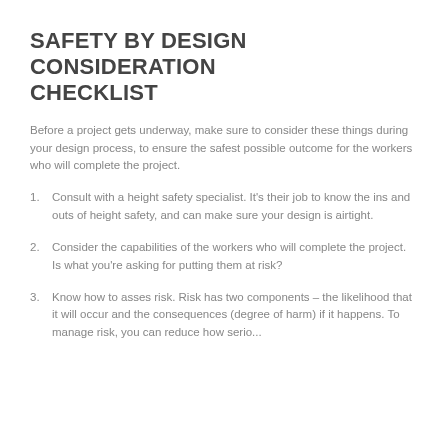SAFETY BY DESIGN CONSIDERATION CHECKLIST
Before a project gets underway, make sure to consider these things during your design process, to ensure the safest possible outcome for the workers who will complete the project.
Consult with a height safety specialist. It's their job to know the ins and outs of height safety, and can make sure your design is airtight.
Consider the capabilities of the workers who will complete the project. Is what you're asking for putting them at risk?
Know how to asses risk. Risk has two components – the likelihood that it will occur and the consequences (degree of harm) if it happens. To manage risk, you can reduce how serio...